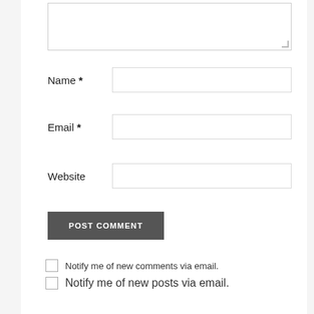[Figure (screenshot): Comment form textarea (partially visible at top)]
Name *
Email *
Website
POST COMMENT
Notify me of new comments via email.
Notify me of new posts via email.